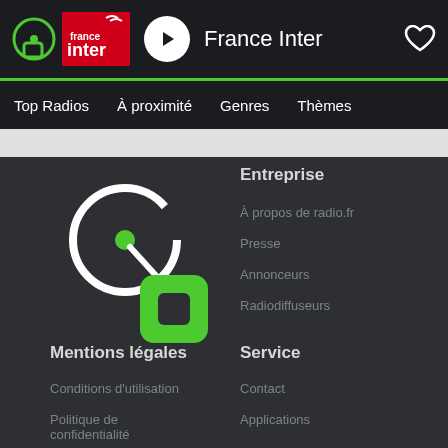France Inter
Top Radios
À proximité
Genres
Thèmes
[Figure (logo): radio.fr green logo icon]
Entreprise
À propos de radio.fr
Presse
Annonceurs
Radiodiffuseurs
Mentions légales
Service
Conditions d'utilisation
Contact
Politique de confidentialité
Applications